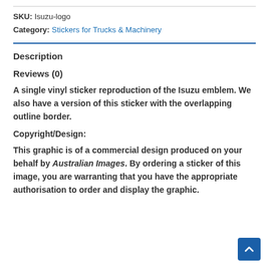SKU: Isuzu-logo
Category: Stickers for Trucks & Machinery
Description
Reviews (0)
A single vinyl sticker reproduction of the Isuzu emblem. We also have a version of this sticker with the overlapping outline border.
Copyright/Design:
This graphic is of a commercial design produced on your behalf by Australian Images. By ordering a sticker of this image, you are warranting that you have the appropriate authorisation to order and display the graphic.